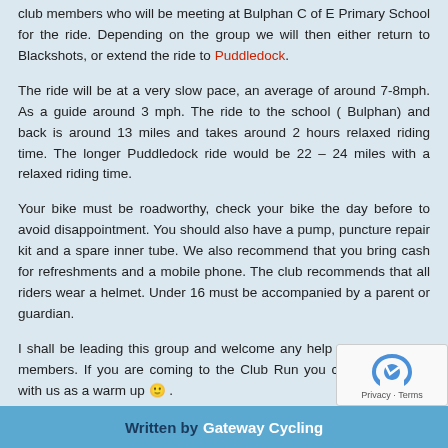club members who will be meeting at Bulphan C of E Primary School for the ride. Depending on the group we will then either return to Blackshots, or extend the ride to Puddledock.
The ride will be at a very slow pace, an average of around 7-8mph. As a guide a walking pace is around 3 mph. The ride to the school (Bulphan) and back is around 13 miles and takes around 2 hours relaxed riding time. The longer Puddledock ride would be 22 – 24 miles with a relaxed riding time.
Your bike must be roadworthy, check your bike the day before to avoid disappointment. You should also have a pump, puncture repair kit and a spare inner tube. We also recommend that you bring cash for refreshments and a mobile phone. The club recommends that all riders wear a helmet. Under 16 must be accompanied by a parent or guardian.
I shall be leading this group and welcome any help from other club members. If you are coming to the Club Run you could ride down with us as a warm up 🙂 .
If you have any questions about this ride then either pop a comment down below, come along to Club Night, email a Club Official or send a message via the Contact page or tweet @GatewayCycling
Thank you to all and safe riding
Gary
Written by Gateway Cycling